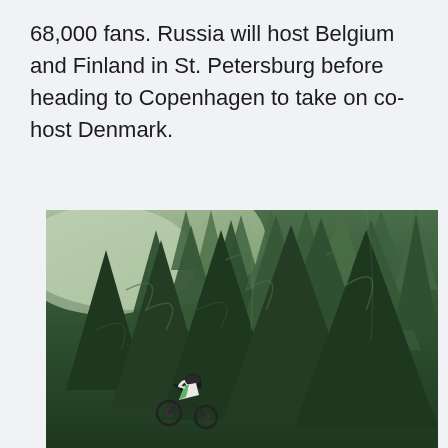68,000 fans. Russia will host Belgium and Finland in St. Petersburg before heading to Copenhagen to take on co-host Denmark.
[Figure (photo): Aerial/overhead view of a mountain biker in white and green gear riding down a steep forested hillside densely packed with tall dark green conifer trees.]